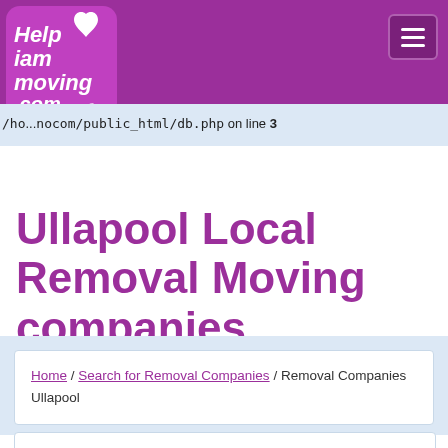[Figure (logo): HelpIamMoving.com logo — white text on purple rounded square with heart icon]
/ho.../nocom/public_html/db.php on line 3
Ullapool Local Removal Moving companies
Home / Search for Removal Companies / Removal Companies Ullapool